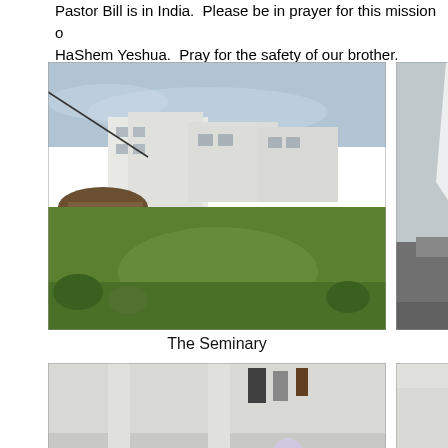Pastor Bill is in India.  Please be in prayer for this mission of HaShem Yeshua.  Pray for the safety of our brother.  Photos
[Figure (photo): Outdoor view of the Seminary campus buildings with green lawn, red dirt paths, thatched structure, white multi-story buildings under overcast sky]
The Seminary
[Figure (photo): Indoor photo of accommodation room showing a bed with white mosquito net and a red pennant/flag on a pole, with barred windows in background]
Accommo...
[Figure (photo): Indoor photo of people sitting on the floor eating a meal together, with white walls and pillars and clothing hanging in background]
[Figure (photo): Interior room photo with white walls and a doorway, people visible inside]